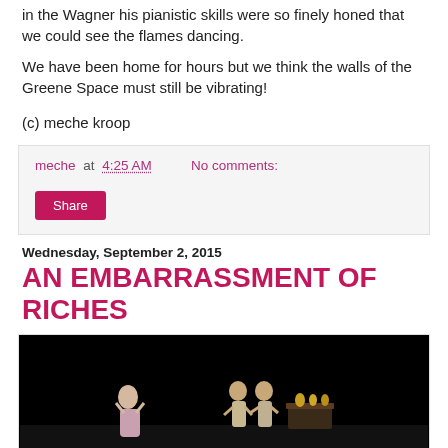in the Wagner his pianistic skills were so finely honed that we could see the flames dancing.
We have been home for hours but we think the walls of the Greene Space must still be vibrating!
(c) meche kroop
meche at 4:25 AM    No comments:
Share
Wednesday, September 2, 2015
AN EMBARRASSMENT OF RICHES
[Figure (photo): Stage performance photo with dark background showing performers on stage; one figure on left, two figures on right near a table with objects]